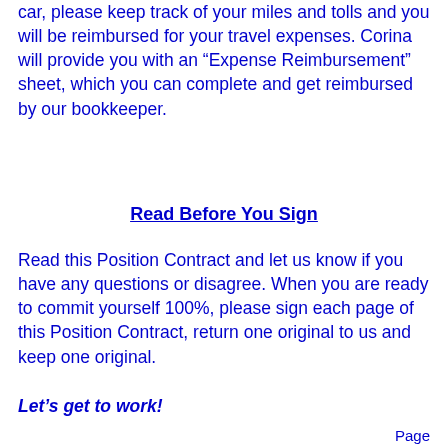car, please keep track of your miles and tolls and you will be reimbursed for your travel expenses. Corina will provide you with an “Expense Reimbursement” sheet, which you can complete and get reimbursed by our bookkeeper.
Read Before You Sign
Read this Position Contract and let us know if you have any questions or disagree. When you are ready to commit yourself 100%, please sign each page of this Position Contract, return one original to us and keep one original.
Let’s get to work!
Page